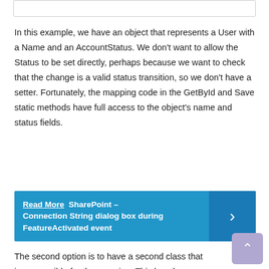[Figure (other): Top border box / partial UI element at the top of the page]
In this example, we have an object that represents a User with a Name and an AccountStatus. We don't want to allow the Status to be set directly, perhaps because we want to check that the change is a valid status transition, so we don't have a setter. Fortunately, the mapping code in the GetById and Save static methods have full access to the object's name and status fields.
Read More  SharePoint – Connection String dialog box during FeatureActivated event
The second option is to have a second class that is responsible for the mapping. This has the advantage of